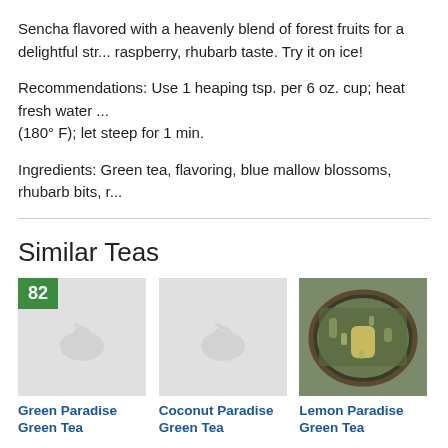Sencha flavored with a heavenly blend of forest fruits for a delightful str... raspberry, rhubarb taste. Try it on ice!
Recommendations: Use 1 heaping tsp. per 6 oz. cup; heat fresh water ... (180° F); let steep for 1 min.
Ingredients: Green tea, flavoring, blue mallow blossoms, rhubarb bits, r...
Similar Teas
[Figure (photo): Tea card 1: placeholder image with green badge showing 82, for Green Paradise Green Tea]
Green Paradise Green Tea
[Figure (photo): Tea card 2: placeholder image for Coconut Paradise Green Tea]
Coconut Paradise Green Tea
[Figure (photo): Tea card 3: photo of loose leaf tea in a bowl for Lemon Paradise Green Tea]
Lemon Paradise Green Tea